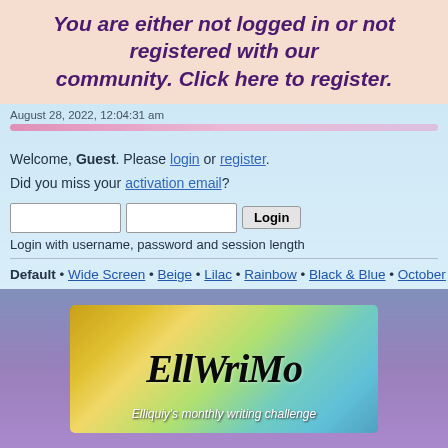You are either not logged in or not registered with our community. Click here to register.
August 28, 2022, 12:04:31 am
Welcome, Guest. Please login or register. Did you miss your activation email?
Login with username, password and session length
Default • Wide Screen • Beige • Lilac • Rainbow • Black & Blue • October • Plati
[Figure (screenshot): EllWriMo banner — Elliquiy's monthly writing challenge]
Wiki
Home  Help  Search  My Bookmarks  Login  Register
Elliquiy Role Playing Forums » Adult Role Playing Requests »